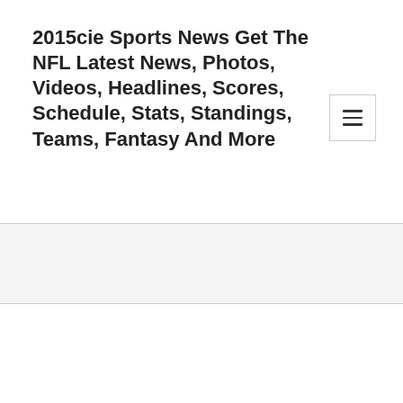2015cie Sports News Get The NFL Latest News, Photos, Videos, Headlines, Scores, Schedule, Stats, Standings, Teams, Fantasy And More
Month: July 2019
Country football by collecting seven tackles